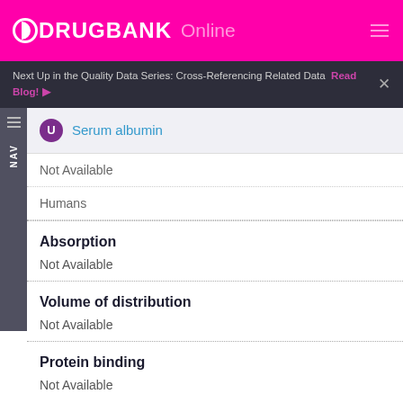DRUGBANK Online
Next Up in the Quality Data Series: Cross-Referencing Related Data  Read Blog!  ×
U  Serum albumin
Not Available
Humans
Absorption
Not Available
Volume of distribution
Not Available
Protein binding
Not Available